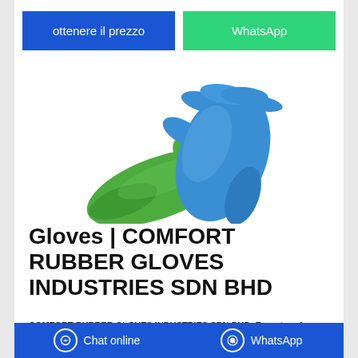ottenere il prezzo
WhatsApp
[Figure (photo): Two rubber gloves — one green and one blue — overlapping on a white background]
Gloves | COMFORT RUBBER GLOVES INDUSTRIES SDN BHD
COMFORT RUBBER GLOVES INDUSTRIES SDN BHD, Exporter of Gloves, LOT 821, JALAN MATANG MATANG, TAIPING 34750 PERAK Malaysia
Chat online  WhatsApp